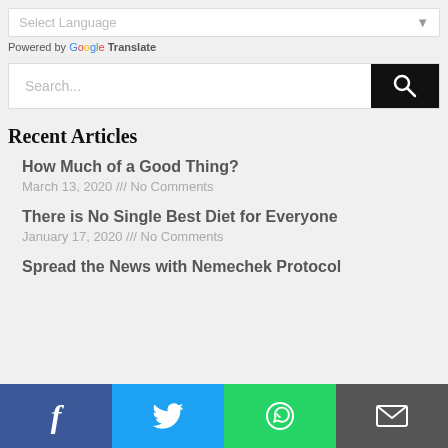[Figure (screenshot): Select Language dropdown widget]
Powered by Google Translate
[Figure (screenshot): Search bar with search button]
Recent Articles
How Much of a Good Thing?
March 13, 2020 /// No Comments
There is No Single Best Diet for Everyone
January 17, 2020 /// No Comments
Spread the News with Nemechek Protocol
[Figure (infographic): Social share bar with Facebook, Twitter, WhatsApp, and Email buttons]